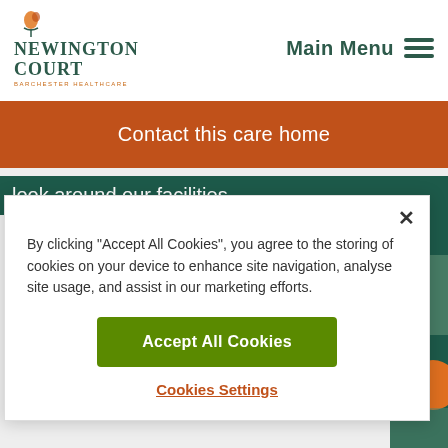Newington Court | Barchester Healthcare | Main Menu
Contact this care home
look around our facilities.
By clicking “Accept All Cookies”, you agree to the storing of cookies on your device to enhance site navigation, analyse site usage, and assist in our marketing efforts.
Accept All Cookies
Cookies Settings